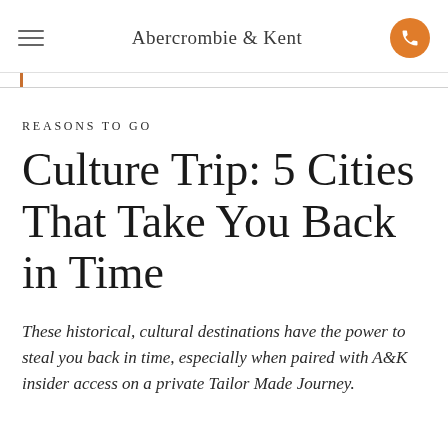Abercrombie & Kent
REASONS TO GO
Culture Trip: 5 Cities That Take You Back in Time
These historical, cultural destinations have the power to steal you back in time, especially when paired with A&K insider access on a private Tailor Made Journey.